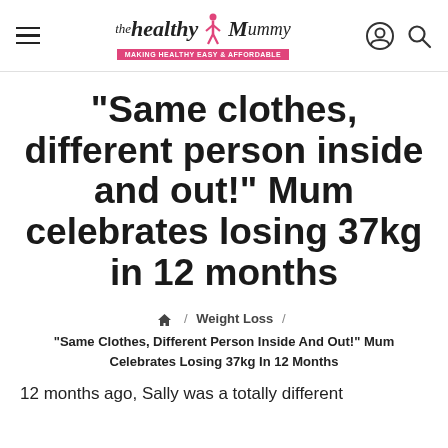the healthy mummy — Making Healthy EASY & AFFORDABLE
“Same clothes, different person inside and out!” Mum celebrates losing 37kg in 12 months
⌂ / Weight Loss / "Same Clothes, Different Person Inside And Out!" Mum Celebrates Losing 37kg In 12 Months
12 months ago, Sally was a totally different